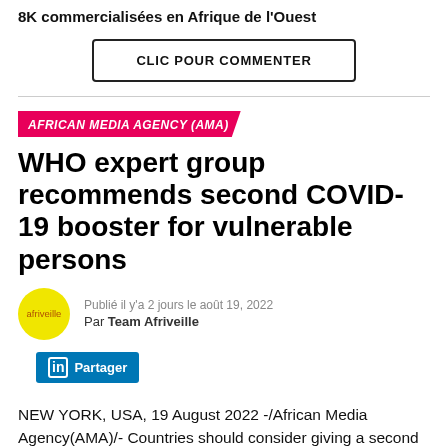8K commercialisées en Afrique de l'Ouest
CLIC POUR COMMENTER
AFRICAN MEDIA AGENCY (AMA)
WHO expert group recommends second COVID-19 booster for vulnerable persons
Publié il y'a 2 jours le août 19, 2022
Par Team Afriveille
Partager
NEW YORK, USA, 19 August 2022 -/African Media Agency(AMA)/- Countries should consider giving a second COVID-19 vaccine booster to older persons,